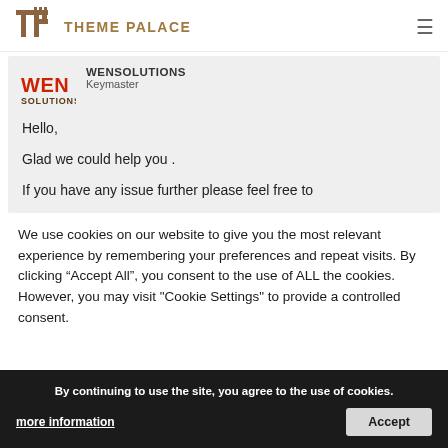THEME PALACE
[Figure (logo): WEN SOLUTIONS logo with red WEN text and brown SOLUTIONS text below]
WENSOLUTIONS
Keymaster
Hello,

Glad we could help you .

If you have any issue further please feel free to contact
We use cookies on our website to give you the most relevant experience by remembering your preferences and repeat visits. By clicking “Accept All”, you consent to the use of ALL the cookies. However, you may visit "Cookie Settings" to provide a controlled consent.
By continuing to use the site, you agree to the use of cookies.
more information
Accept